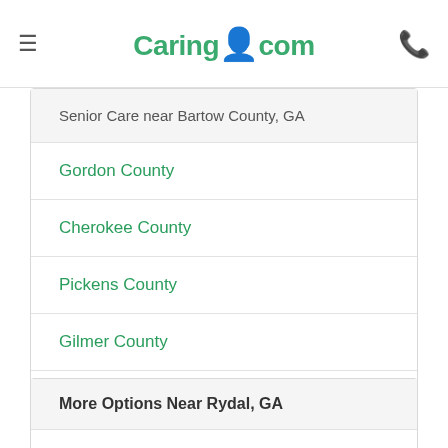Caring.com
Senior Care near Bartow County, GA
Gordon County
Cherokee County
Pickens County
Gilmer County
Floyd County
Paulding County
More Options Near Rydal, GA
Assisted Living in Marietta, Georgia